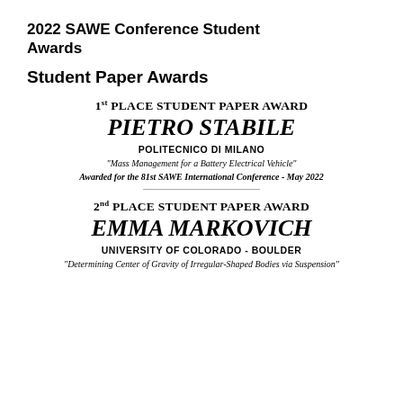2022 SAWE Conference Student Awards
Student Paper Awards
1st PLACE STUDENT PAPER AWARD
PIETRO STABILE
POLITECNICO DI MILANO
"Mass Management for a Battery Electrical Vehicle"
Awarded for the 81st SAWE International Conference - May 2022
2nd PLACE STUDENT PAPER AWARD
EMMA MARKOVICH
UNIVERSITY OF COLORADO - BOULDER
"Determining Center of Gravity of Irregular-Shaped Bodies via Suspension"